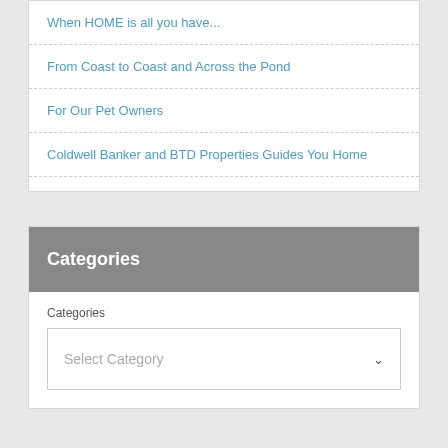When HOME is all you have...
From Coast to Coast and Across the Pond
For Our Pet Owners
Coldwell Banker and BTD Properties Guides You Home
Categories
Categories
Select Category